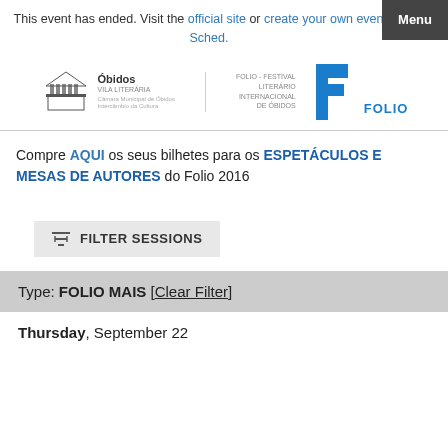This event has ended. Visit the official site or create your own event on Sched.
[Figure (logo): Óbidos vila literária logo with UNESCO building icon and Folio festival literary logo with blue geometric F shape]
Compre AQUI os seus bilhetes para os ESPETÁCULOS E MESAS DE AUTORES do Folio 2016
FILTER SESSIONS
Type: FOLIO MAIS [Clear Filter]
Thursday, September 22